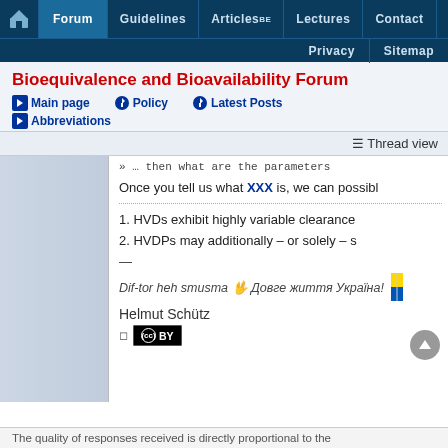Navigation: Home | Forum | Guidelines | Articles BE | Lectures | Contact | Privacy | Sitemap
Bioequivalence and Bioavailability Forum
Main page
Policy
Latest Posts
Abbreviations
Thread view
» … then what are the parameters
Once you tell us what XXX is, we can possibl
1. HVDs exhibit highly variable clearance
2. HVDPs may additionally – or solely – s
—
Dif-tor heh smusma 🖖 Довге життя Україна!
Helmut Schütz
CC BY
The quality of responses received is directly proportional to the